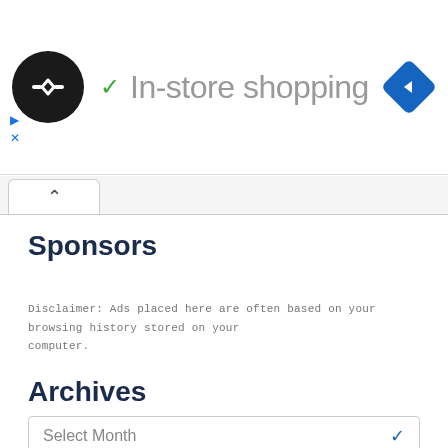In-store shopping
Sponsors
Disclaimer: Ads placed here are often based on your browsing history stored on your computer.
Archives
Select Month
Sponsors